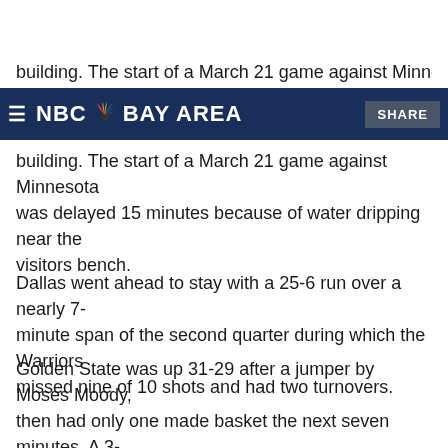NBC Bay Area – navigation bar with SHARE button
building. The start of a March 21 game against Minnesota was delayed 15 minutes because of water dripping near the visitors bench.
Dallas went ahead to stay with a 25-6 run over a nearly 7-minute span of the second quarter during which the Warriors missed nine of 10 shots and had two turnovers.
Golden State was up 31-29 after a jumper by Moses Moody, then had only one made basket the next seven minutes. A 3-pointer by Davis Bertans put the Mavericks in the lead for good.